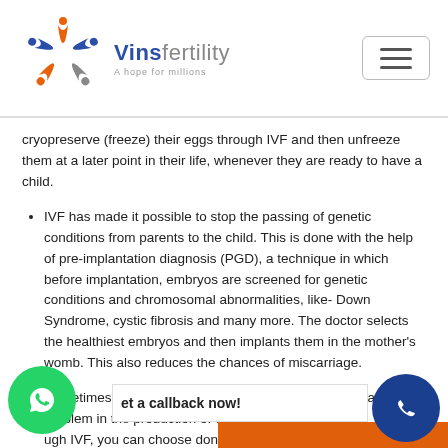[Figure (logo): Vinsfertility logo with colorful circular figures (blue, orange, gray people icons) and the text 'Vinsfertility – A hope for millions']
cryopreserve (freeze) their eggs through IVF and then unfreeze them at a later point in their life, whenever they are ready to have a child.
IVF has made it possible to stop the passing of genetic conditions from parents to the child. This is done with the help of pre-implantation diagnosis (PGD), a technique in which before implantation, embryos are screened for genetic conditions and chromosomal abnormalities, like- Down Syndrome, cystic fibrosis and many more. The doctor selects the healthiest embryos and then implants them in the mother's womb. This also reduces the chances of miscarriage.
Sometimes due to certain medical conditions, there is a problem in the production of eggs or...ugh IVF, you can choose donor eggs, sperm or e...This is manly for same sex couples, single parents o...